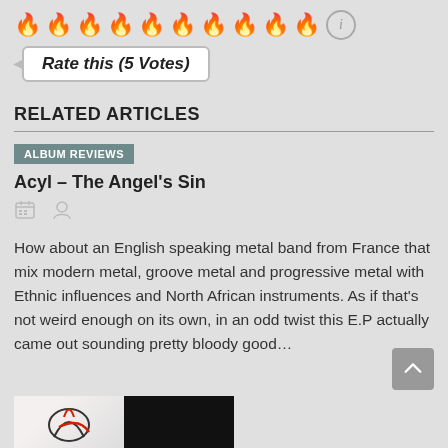[Figure (other): Ten flame emojis in a row followed by a circled info icon, used as a rating widget]
Rate this (5 Votes)
RELATED ARTICLES
ALBUM REVIEWS
Acyl – The Angel's Sin
How about an English speaking metal band from France that mix modern metal, groove metal and progressive metal with Ethnic influences and North African instruments. As if that's not weird enough on its own, in an odd twist this E.P actually came out sounding pretty bloody good…
[Figure (photo): Partial bottom image showing album art, half light background with graphic, half black background]